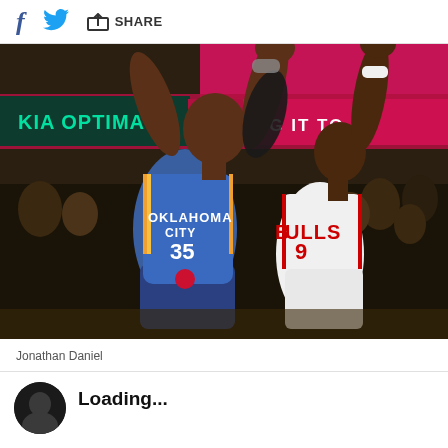f [facebook] [twitter] [share] SHARE
[Figure (photo): NBA basketball game action shot: Oklahoma City Thunder player #35 (Kevin Durant) in blue uniform contests a shot against Chicago Bulls player #9 in white uniform, with arena crowd and KIA OPTIMA advertising board in background.]
Jonathan Daniel
[Figure (photo): Author avatar - dark circular profile photo, partially visible at bottom left]
Loading...